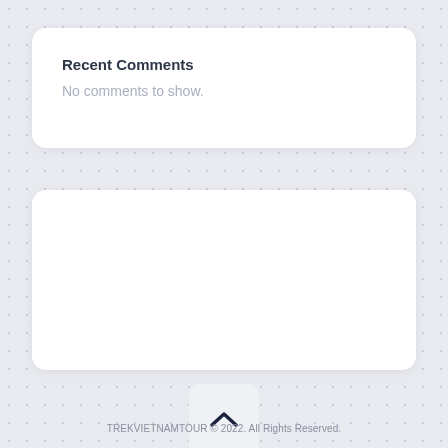Recent Comments
No comments to show.
[Figure (other): Scroll-to-top button with upward chevron icon]
TREKVIETNAMTOUR © 2022. All Rights Reserved.